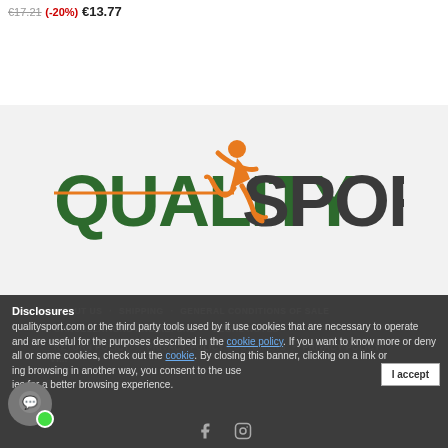€17.21 (-20%) €13.77
[Figure (logo): QualitySport logo with orange running figure, QUALITY in dark green bold uppercase, SPORT in dark gray bold uppercase]
Disclosures
qualitysport.com or the third party tools used by it use cookies that are necessary to operate and are useful for the purposes described in the cookie policy. If you want to know more or deny all or some cookies, check out the cookie. By closing this banner, clicking on a link or ing browsing in another way, you consent to the use ies for a better browsing experience.
ABOUT US   SHIPPING   GENERAL CONDITIONS OF SALE
CANCELLATIONS AND REFUND   LEGAL NOTES
RETURN POLICY   PRIVACY POLICY CUSTOMERS   PRIVACY POLICY VI...
I accept